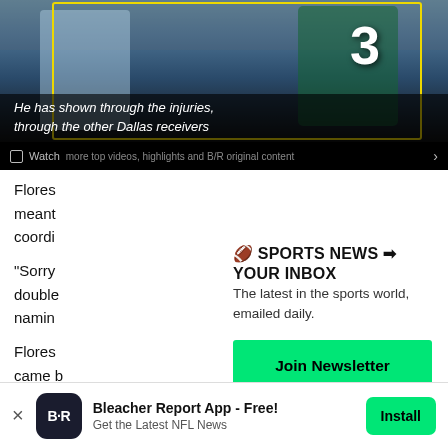[Figure (screenshot): Video player showing NFL players with jersey number 3, with caption overlay reading 'He has shown through the injuries, through the other Dallas receivers' and a Watch bar at the bottom.]
Flores meant coordi
"Sorry double namin
Flores came b and th
🏈 SPORTS NEWS ➡ YOUR INBOX
The latest in the sports world, emailed daily.
Join Newsletter
Maybe Later
Bleacher Report App - Free!
Get the Latest NFL News